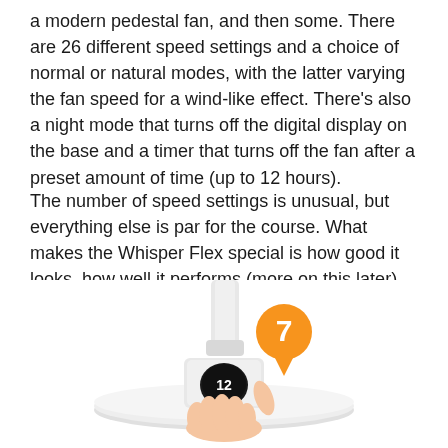a modern pedestal fan, and then some. There are 26 different speed settings and a choice of normal or natural modes, with the latter varying the fan speed for a wind-like effect. There's also a night mode that turns off the digital display on the base and a timer that turns off the fan after a preset amount of time (up to 12 hours).
The number of speed settings is unusual, but everything else is par for the course. What makes the Whisper Flex special is how good it looks, how well it performs (more on this later) and how it's controlled.
[Figure (photo): Photo of a white modern pedestal fan base being held by a hand, showing a digital display reading '12'. An orange circular badge with the number 7 and a downward-pointing tail is overlaid on the image.]